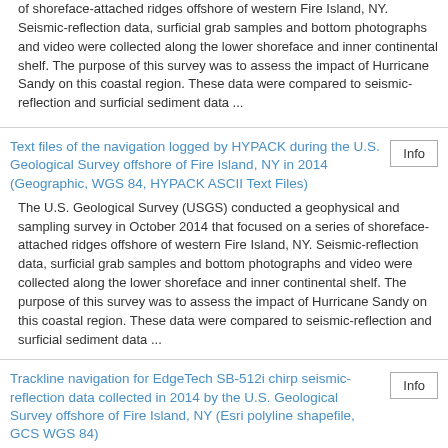of shoreface-attached ridges offshore of western Fire Island, NY. Seismic-reflection data, surficial grab samples and bottom photographs and video were collected along the lower shoreface and inner continental shelf. The purpose of this survey was to assess the impact of Hurricane Sandy on this coastal region. These data were compared to seismic-reflection and surficial sediment data ...
Text files of the navigation logged by HYPACK during the U.S. Geological Survey offshore of Fire Island, NY in 2014 (Geographic, WGS 84, HYPACK ASCII Text Files)
Info
The U.S. Geological Survey (USGS) conducted a geophysical and sampling survey in October 2014 that focused on a series of shoreface-attached ridges offshore of western Fire Island, NY. Seismic-reflection data, surficial grab samples and bottom photographs and video were collected along the lower shoreface and inner continental shelf. The purpose of this survey was to assess the impact of Hurricane Sandy on this coastal region. These data were compared to seismic-reflection and surficial sediment data ...
Trackline navigation for EdgeTech SB-512i chirp seismic-reflection data collected in 2014 by the U.S. Geological Survey offshore of Fire Island, NY (Esri polyline shapefile, GCS WGS 84)
Info